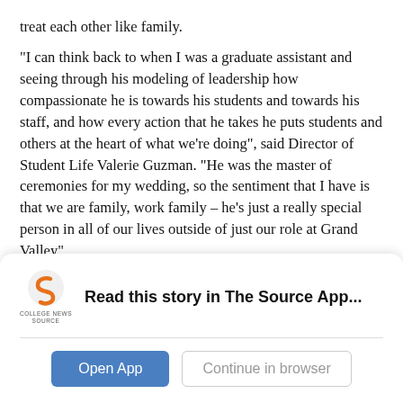treat each other like family.
“I can think back to when I was a graduate assistant and seeing through his modeling of leadership how compassionate he is towards his students and towards his staff, and how every action that he takes he puts students and others at the heart of what we’re doing”, said Director of Student Life Valerie Guzman. “He was the master of ceremonies for my wedding, so the sentiment that I have is that we are family, work family – he’s just a really special person in all of our lives outside of just our role at Grand Valley”.
[Figure (logo): College News Source app logo - orange S shape with text COLLEGE NEWS SOURCE below]
Read this story in The Source App...
Open App
Continue in browser